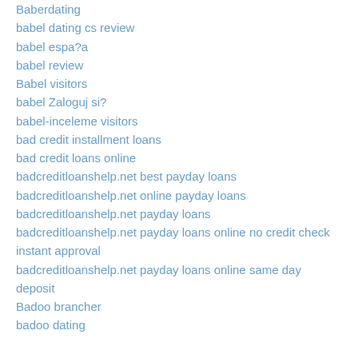Baberdating
babel dating cs review
babel espa?a
babel review
Babel visitors
babel Zaloguj si?
babel-inceleme visitors
bad credit installment loans
bad credit loans online
badcreditloanshelp.net best payday loans
badcreditloanshelp.net online payday loans
badcreditloanshelp.net payday loans
badcreditloanshelp.net payday loans online no credit check instant approval
badcreditloanshelp.net payday loans online same day deposit
Badoo brancher
badoo dating